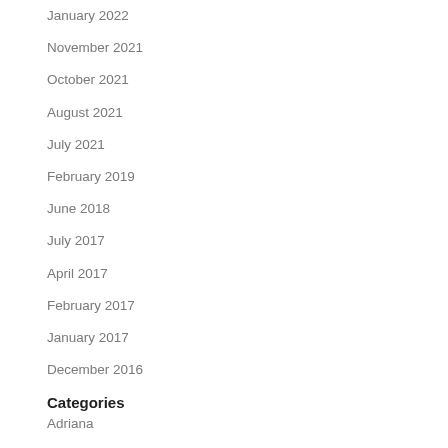January 2022
November 2021
October 2021
August 2021
July 2021
February 2019
June 2018
July 2017
April 2017
February 2017
January 2017
December 2016
Categories
Adriana